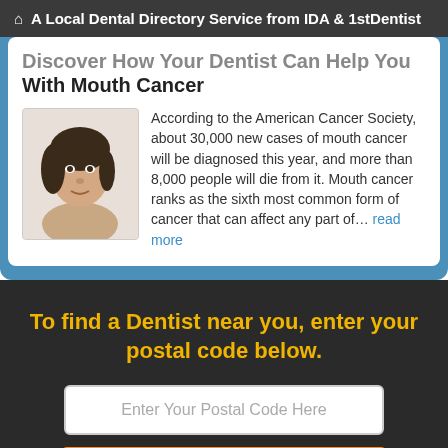A Local Dental Directory Service from IDA & 1stDentist
Discover How Your Dentist Can Help You With Mouth Cancer
[Figure (photo): Portrait photo of a smiling woman looking upward, used as illustration for dental/mouth cancer article]
According to the American Cancer Society, about 30,000 new cases of mouth cancer will be diagnosed this year, and more than 8,000 people will die from it. Mouth cancer ranks as the sixth most common form of cancer that can affect any part of… read more
To find a Dentist near you, enter your postal code below.
Enter Your Postal Code Here
Click Here To Find a Dentist